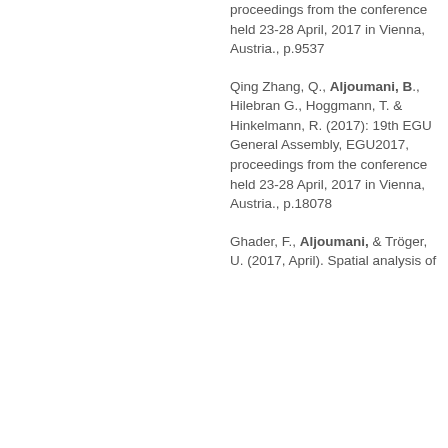proceedings from the conference held 23-28 April, 2017 in Vienna, Austria., p.9537
Qing Zhang, Q., Aljoumani, B., Hillebrand G., Hoggmann, T. & Hinkelmann, R. (2017): 19th EGU General Assembly, EGU2017, proceedings from the conference held 23-28 April, 2017 in Vienna, Austria., p.18078
Ghader, F., Aljoumani, & Tröger, U. (2017, April). Spatial analysis of